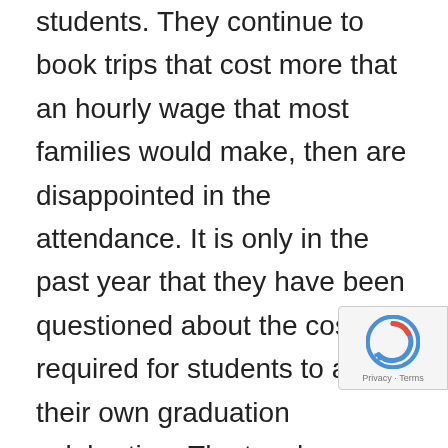students. They continue to book trips that cost more that an hourly wage that most families would make, then are disappointed in the attendance. It is only in the past year that they have been questioned about the cost required for students to attend their own graduation celebration. The teacher response in regards to how they are accommodating a student population with a decrease in family income, is to encourage students to come forth if they don't have the funds and the staff will address it or provide the funds, based on the individual situation.

Recently I was talking to a teacher from another
[Figure (other): Google reCAPTCHA badge with Privacy and Terms links]